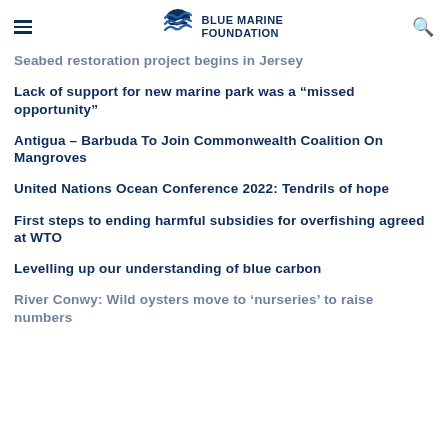Blue Marine Foundation
Seabed restoration project begins in Jersey
Lack of support for new marine park was a “missed opportunity”
Antigua – Barbuda To Join Commonwealth Coalition On Mangroves
United Nations Ocean Conference 2022: Tendrils of hope
First steps to ending harmful subsidies for overfishing agreed at WTO
Levelling up our understanding of blue carbon
River Conwy: Wild oysters move to ‘nurseries’ to raise numbers